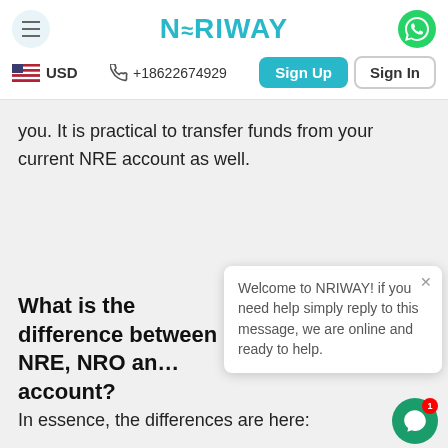NRIWAY
USD  +18622674929  Sign Up  Sign In
you. It is practical to transfer funds from your current NRE account as well.
What is the difference between NRE, NRO and account?
In essence, the differences are here: